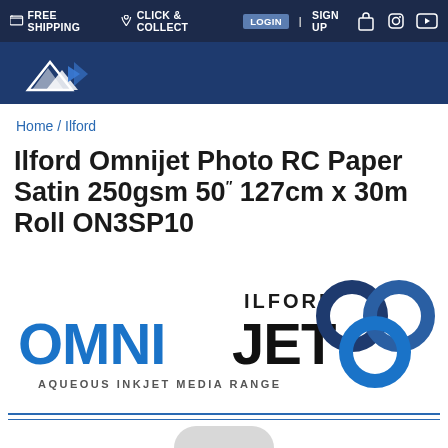FREE SHIPPING  CLICK & COLLECT  LOGIN  |  SIGN UP
[Figure (logo): Dark blue navigation header banner with mountain/arrow logo mark (white triangular shapes)]
Home / Ilford
Ilford Omnijet Photo RC Paper Satin 250gsm 50" 127cm x 30m Roll ON3SP10
[Figure (logo): Ilford Omnijet logo: large blue text 'OMNI' and black text 'JET' with 'ILFORD' above in black and 'AQUEOUS INKJET MEDIA RANGE' below, alongside three interlocking circles/rings in dark navy and blue gradient]